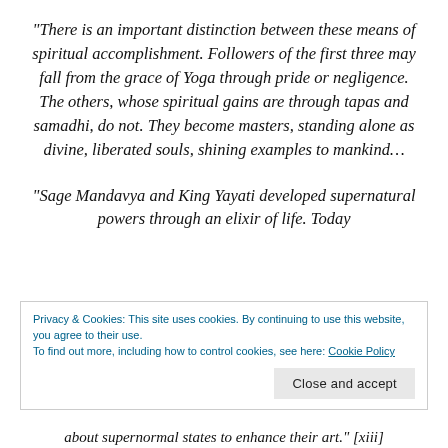“There is an important distinction between these means of spiritual accomplishment. Followers of the first three may fall from the grace of Yoga through pride or negligence. The others, whose spiritual gains are through tapas and samadhi, do not. They become masters, standing alone as divine, liberated souls, shining examples to mankind…
“Sage Mandavya and King Yayati developed supernatural powers through an elixir of life. Today
Privacy & Cookies: This site uses cookies. By continuing to use this website, you agree to their use.
To find out more, including how to control cookies, see here: Cookie Policy
about supernormal states to enhance their art.” [xiii]